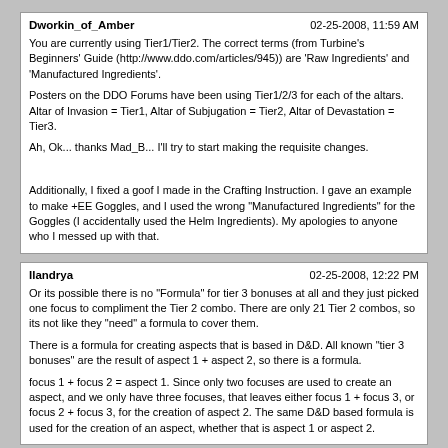Dworkin_of_Amber — 02-25-2008, 11:59 AM
You are currently using Tier1/Tier2. The correct terms (from Turbine's Beginners' Guide (http://www.ddo.com/articles/945)) are 'Raw Ingredients' and 'Manufactured Ingredients'.

Posters on the DDO Forums have been using Tier1/2/3 for each of the altars. Altar of Invasion = Tier1, Altar of Subjugation = Tier2, Altar of Devastation = Tier3.

Ah, Ok... thanks Mad_B... I'll try to start making the requisite changes.

Additionally, I fixed a goof I made in the Crafting Instruction. I gave an example to make +EE Goggles, and I used the wrong "Manufactured Ingredients" for the Goggles (I accidentally used the Helm Ingredients). My apologies to anyone who I messed up with that.
Ilandrya — 02-25-2008, 12:22 PM
Or its possible there is no "Formula" for tier 3 bonuses at all and they just picked one focus to compliment the Tier 2 combo. There are only 21 Tier 2 combos, so its not like they "need" a formula to cover them.

There is a formula for creating aspects that is based in D&D. All known "tier 3 bonuses" are the result of aspect 1 + aspect 2, so there is a formula.

focus 1 + focus 2 = aspect 1. Since only two focuses are used to create an aspect, and we only have three focuses, that leaves either focus 1 + focus 3, or focus 2 + focus 3, for the creation of aspect 2. The same D&D based formula is used for the creation of an aspect, whether that is aspect 1 or aspect 2.
jjflanigan — 02-25-2008, 12:43 PM